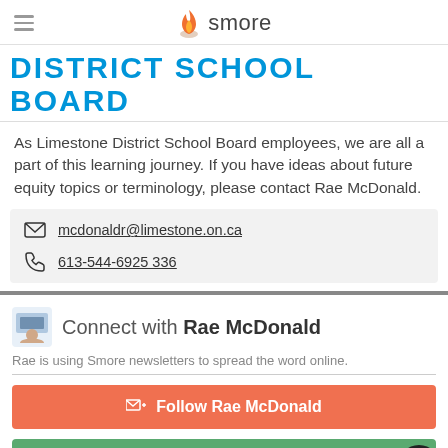smore
DISTRICT SCHOOL BOARD
As Limestone District School Board employees, we are all a part of this learning journey. If you have ideas about future equity topics or terminology, please contact Rae McDonald.
mcdonaldr@limestone.on.ca
613-544-6925 336
Connect with Rae McDonald
Rae is using Smore newsletters to spread the word online.
Follow Rae McDonald
Contact Rae McDonald